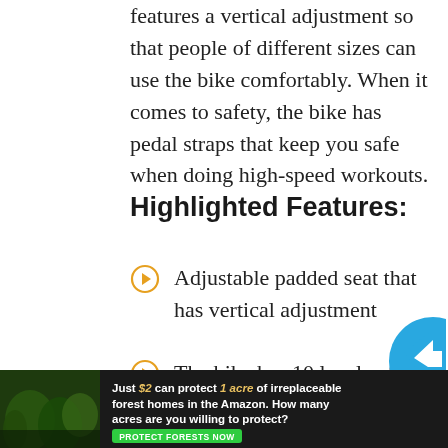features a vertical adjustment so that people of different sizes can use the bike comfortably. When it comes to safety, the bike has pedal straps that keep you safe when doing high-speed workouts.
Highlighted Features:
Adjustable padded seat that has vertical adjustment
The bike has 10 levels of magnetic resistance for intense workouts
Easily convertible to a recumbent
[Figure (infographic): Advertisement banner: forest/Amazon conservation ad. Text reads 'Just $2 can protect 1 acre of irreplaceable forest homes in the Amazon. How many acres are you willing to protect?' with a green 'PROTECT FORESTS NOW' button. Background shows forest imagery.]